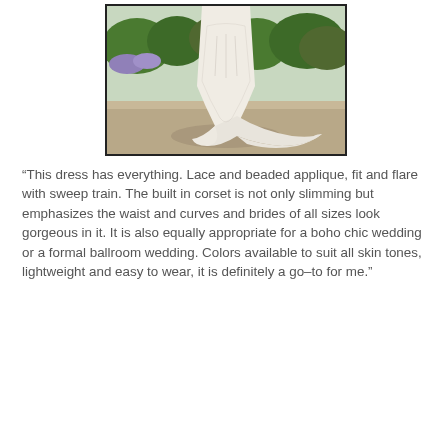[Figure (photo): A wedding dress with lace and beaded applique, fit and flare with sweep train, shown outdoors with greenery in background.]
“This dress has everything. Lace and beaded applique, fit and flare with sweep train.  The built in corset is not only slimming but emphasizes the waist and curves and brides of all sizes look gorgeous in it. It is also equally appropriate for a boho chic wedding or a formal ballroom wedding.  Colors available to suit all skin tones, lightweight and easy to wear, it is definitely a go-to for me.”